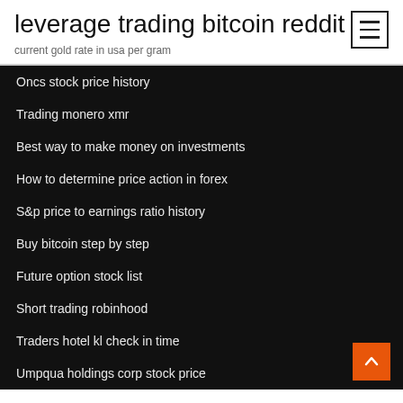leverage trading bitcoin reddit
current gold rate in usa per gram
Oncs stock price history
Trading monero xmr
Best way to make money on investments
How to determine price action in forex
S&p price to earnings ratio history
Buy bitcoin step by step
Future option stock list
Short trading robinhood
Traders hotel kl check in time
Umpqua holdings corp stock price